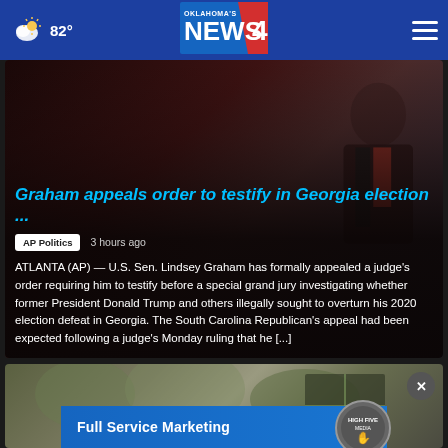82° Oklahoma's News 4
Graham appeals order to testify in Georgia election ...
AP Politics  3 hours ago
ATLANTA (AP) — U.S. Sen. Lindsey Graham has formally appealed a judge's order requiring him to testify before a special grand jury investigating whether former President Donald Trump and others illegally sought to overturn his 2020 election defeat in Georgia. The South Carolina Republican's appeal had been expected following a judge's Monday ruling that he [...]
[Figure (photo): Blurred outdoor photo, second article card]
[Figure (screenshot): Advertisement banner: Full Service Marketing with High Five Media logo]